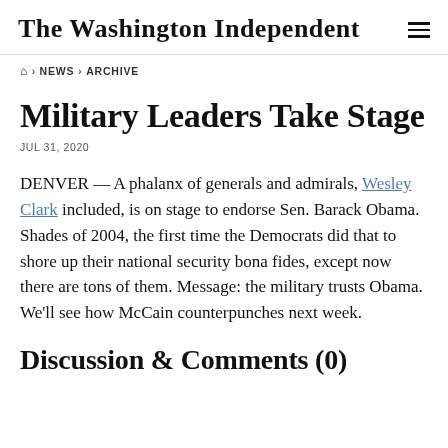The Washington Independent
🏠 › NEWS › ARCHIVE
Military Leaders Take Stage
JUL 31, 2020
DENVER — A phalanx of generals and admirals, Wesley Clark included, is on stage to endorse Sen. Barack Obama. Shades of 2004, the first time the Democrats did that to shore up their national security bona fides, except now there are tons of them. Message: the military trusts Obama. We'll see how McCain counterpunches next week.
Discussion & Comments (0)